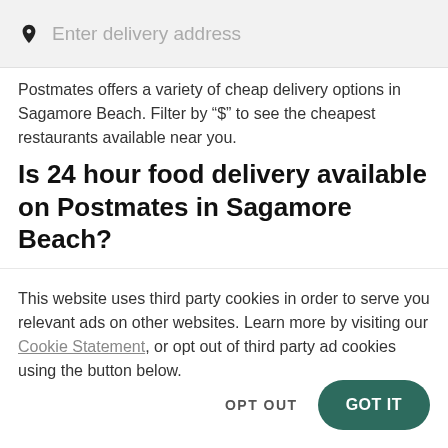[Figure (other): Location pin icon with address input bar showing placeholder text 'Enter delivery address' on a light gray background]
Postmates offers a variety of cheap delivery options in Sagamore Beach. Filter by "$" to see the cheapest restaurants available near you.
Is 24 hour food delivery available on Postmates in Sagamore Beach?
Postmates is proud to deliver the items you need, right when you need them. Enter your delivery address to see
This website uses third party cookies in order to serve you relevant ads on other websites. Learn more by visiting our Cookie Statement, or opt out of third party ad cookies using the button below.